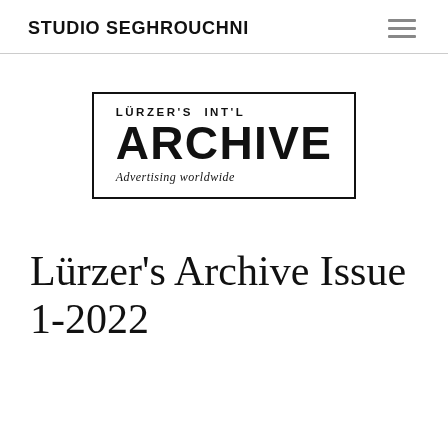STUDIO SEGHROUCHNI
[Figure (logo): Lürzer's Int'l Archive logo: a rectangular stamp-style border containing the text 'LÜRZER'S INT'L' above large bold 'ARCHIVE' and below 'Advertising worldwide' in italic.]
Lürzer's Archive Issue 1-2022